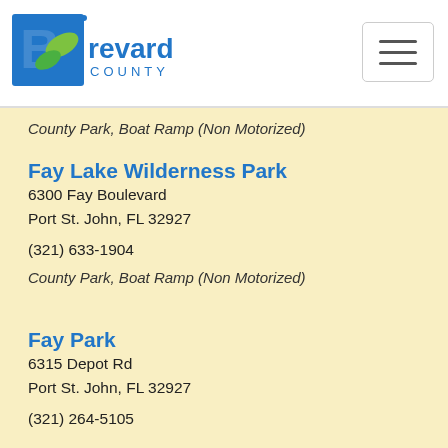Brevard County
County Park, Boat Ramp (Non Motorized)
Fay Lake Wilderness Park
6300 Fay Boulevard
Port St. John, FL 32927
(321) 633-1904
County Park, Boat Ramp (Non Motorized)
Fay Park
6315 Depot Rd
Port St. John, FL 32927
(321) 264-5105